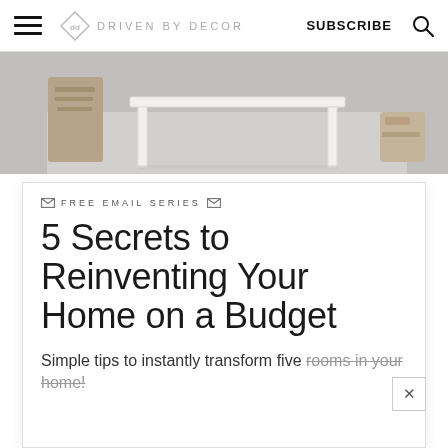DRIVEN BY DECOR | SUBSCRIBE
[Figure (photo): Partial view of a white console table with rope and shoe objects on a grey floor]
✉ FREE EMAIL SERIES ✉
5 Secrets to Reinventing Your Home on a Budget
Simple tips to instantly transform five rooms in your home!